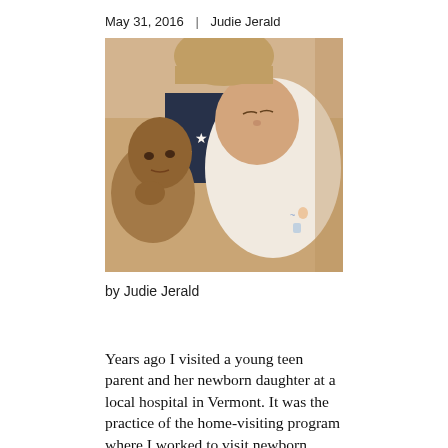May 31, 2016  |  Judie Jerald
[Figure (photo): A sleeping newborn baby in white clothing being held by two other children, close-up warm-toned photo]
by Judie Jerald
Years ago I visited a young teen parent and her newborn daughter at a local hospital in Vermont. It was the practice of the home-visiting program where I worked to visit newborn parents in the hospital so we could